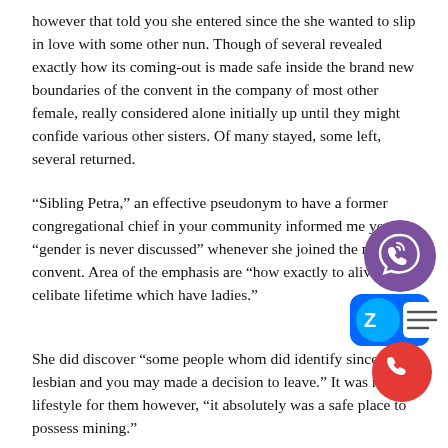however that told you she entered since the she wanted to slip in love with some other nun. Though of several revealed exactly how its coming-out is made safe inside the brand new boundaries of the convent in the company of most other female, really considered alone initially up until they might confide various other sisters. Of many stayed, some left, several returned.
“Sibling Petra,” an effective pseudonym to have a former congregational chief in your community informed me you “gender is never discussed” whenever she joined the new convent. Area of the emphasis are “how exactly to alive good celibate lifetime which have ladies.”
She did discover “some people whom did identify since the lesbian and you may made a decision to leave.” It was not the lifestyle for them however, “it absolutely was a safe place to possess mining.”
[Figure (illustration): Purple circle Viber phone icon with white handset symbol]
[Figure (illustration): Blue Zalo chat app icon with white Z and lines]
[Figure (illustration): Red circle phone call icon with white handset symbol]